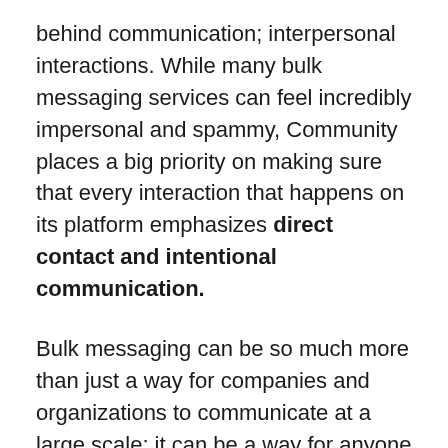behind communication; interpersonal interactions. While many bulk messaging services can feel incredibly impersonal and spammy, Community places a big priority on making sure that every interaction that happens on its platform emphasizes direct contact and intentional communication.
Bulk messaging can be so much more than just a way for companies and organizations to communicate at a large scale; it can be a way for anyone to connect in personalized and direct ways genuinely.
How to Send an SMS from a Computer to a